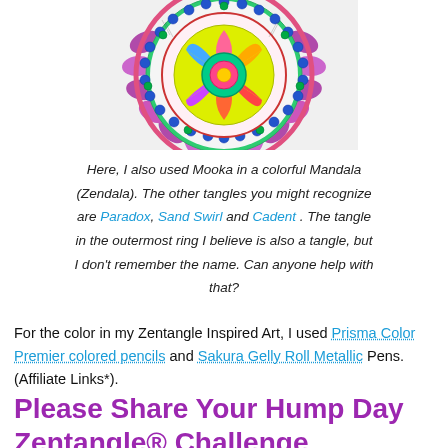[Figure (illustration): Colorful mandala (Zendala) artwork showing intricate patterns with blues, greens, purples, pinks, and yellows arranged in concentric rings]
Here, I also used Mooka in a colorful Mandala (Zendala). The other tangles you might recognize are Paradox, Sand Swirl and Cadent . The tangle in the outermost ring I believe is also a tangle, but I don't remember the name. Can anyone help with that?
For the color in my Zentangle Inspired Art, I used Prisma Color Premier colored pencils and Sakura Gelly Roll Metallic Pens.  (Affiliate Links*).
Please Share Your Hump Day Zentangle® Challenge Creations!